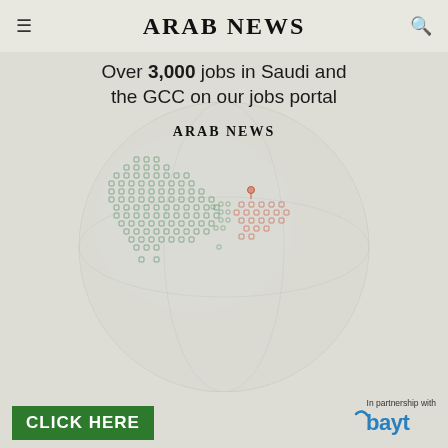ARAB NEWS
[Figure (infographic): Arab News jobs portal advertisement showing a map of Saudi Arabia and GCC region made of small job-category icons in green and orange/red colors, with a globe background. Headline: Over 3,000 jobs in Saudi and the GCC on our jobs portal. ARAB NEWS logo. CLICK HERE button in green. In partnership with Bayt logo.]
Over 3,000 jobs in Saudi and the GCC on our jobs portal
In partnership with
bayt